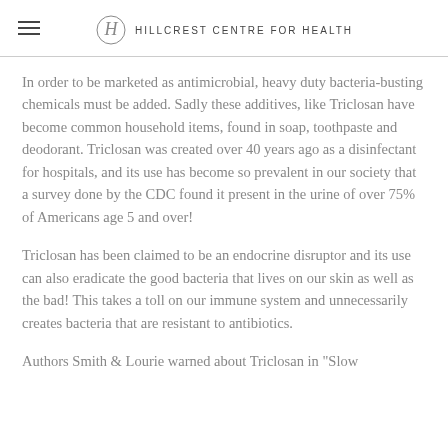HILLCREST CENTRE FOR HEALTH
In order to be marketed as antimicrobial, heavy duty bacteria-busting chemicals must be added. Sadly these additives, like Triclosan have become common household items, found in soap, toothpaste and deodorant. Triclosan was created over 40 years ago as a disinfectant for hospitals, and its use has become so prevalent in our society that a survey done by the CDC found it present in the urine of over 75% of Americans age 5 and over!
Triclosan has been claimed to be an endocrine disruptor and its use can also eradicate the good bacteria that lives on our skin as well as the bad! This takes a toll on our immune system and unnecessarily creates bacteria that are resistant to antibiotics.
Authors Smith & Lourie warned about Triclosan in "Slow